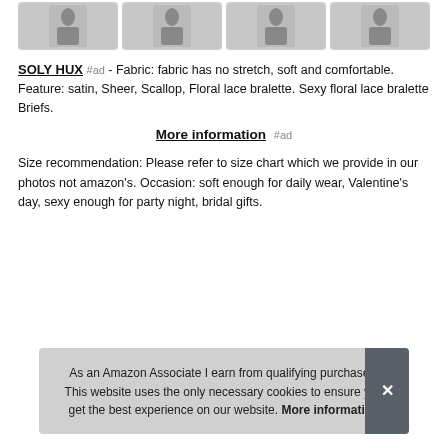[Figure (photo): Four product thumbnail images of lingerie items in a row]
SOLY HUX #ad - Fabric: fabric has no stretch, soft and comfortable. Feature: satin, Sheer, Scallop, Floral lace bralette. Sexy floral lace bralette Briefs.
More information #ad
Size recommendation: Please refer to size chart which we provide in our photos not amazon's. Occasion: soft enough for daily wear, Valentine's day, sexy enough for party night, bridal gifts.
As an Amazon Associate I earn from qualifying purchases. This website uses the only necessary cookies to ensure you get the best experience on our website. More information